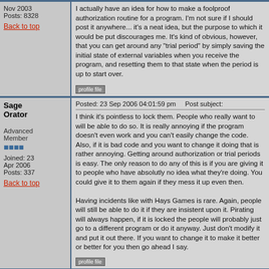Posts: 8328
I actually have an idea for how to make a foolproof authorization routine for a program. I'm not sure if I should post it anywhere... it's a neat idea, but the purpose to which it would be put discourages me. It's kind of obvious, however, that you can get around any "trial period" by simply saving the initial state of external variables when you receive the program, and resetting them to that state when the period is up to start over.
Back to top
Posted: 23 Sep 2006 04:01:59 pm    Post subject:
Sage Orator
Advanced Member
Joined: 23 Apr 2006
Posts: 337
I think it's pointless to lock them. People who really want to will be able to do so. It is really annoying if the program doesn't even work and you can't easily change the code. Also, if it is bad code and you want to change it doing that is rather annoying. Getting around authorization or trial periods is easy. The only reason to do any of this is if you are giving it to people who have absolutly no idea what they're doing. You could give it to them again if they mess it up even then.

Having incidents like with Hays Games is rare. Again, people will still be able to do it if they are insistent upon it. Pirating will always happen, if it is locked the people will probably just go to a different program or do it anyway. Just don't modify it and put it out there. If you want to change it to make it better or better for you then go ahead I say.
Back to top
Posted: 23 Sep 2006 04:16:26 pm    Post subject:
Fallen